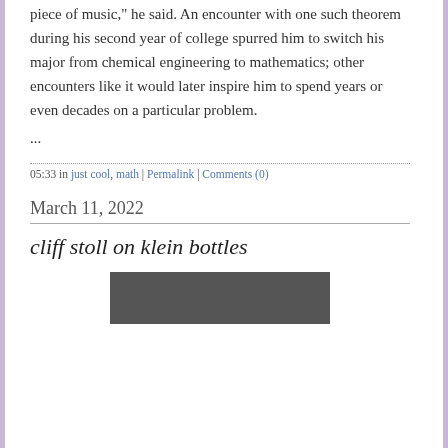piece of music," he said. An encounter with one such theorem during his second year of college spurred him to switch his major from chemical engineering to mathematics; other encounters like it would later inspire him to spend years or even decades on a particular problem.
...
05:33 in just cool, math | Permalink | Comments (0)
March 11, 2022
cliff stoll on klein bottles
[Figure (photo): Partial photo of a person, cropped at bottom of page]